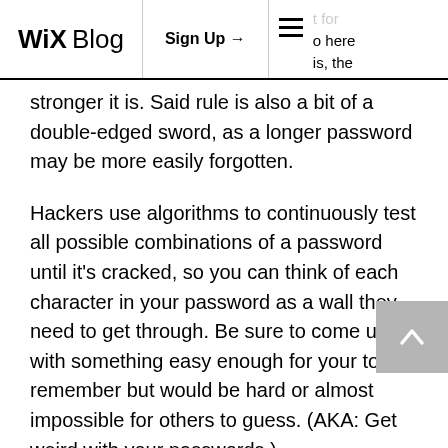WiX Blog | Sign Up → | [hamburger menu] t for o here is, the
stronger it is. Said rule is also a bit of a double-edged sword, as a longer password may be more easily forgotten.
Hackers use algorithms to continuously test all possible combinations of a password until it's cracked, so you can think of each character in your password as a wall they need to get through. Be sure to come up with something easy enough for your to remember but would be hard or almost impossible for others to guess. (AKA: Get weird with your passwords.)